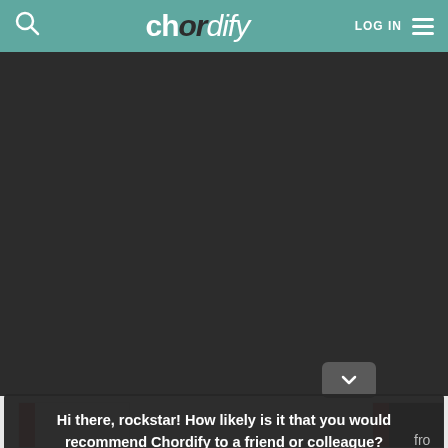chordify  LOG IN
[Figure (screenshot): Dark background area representing the main Chordify application interface]
Hi there, rockstar! How likely is it that you would recommend Chordify to a friend or colleague?
Reply